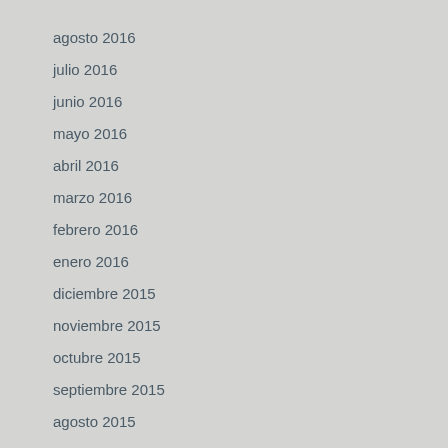agosto 2016
julio 2016
junio 2016
mayo 2016
abril 2016
marzo 2016
febrero 2016
enero 2016
diciembre 2015
noviembre 2015
octubre 2015
septiembre 2015
agosto 2015
julio 2015